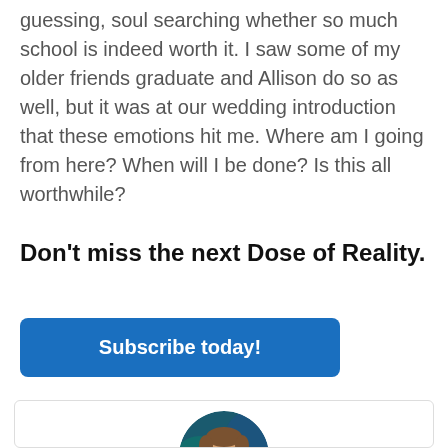guessing, soul searching whether so much school is indeed worth it. I saw some of my older friends graduate and Allison do so as well, but it was at our wedding introduction that these emotions hit me. Where am I going from here? When will I be done? Is this all worthwhile?
Don't miss the next Dose of Reality.
Subscribe today!
[Figure (photo): Circular portrait photo of a smiling man with short brown hair against a blurred blue-green background, displayed inside a bordered card.]